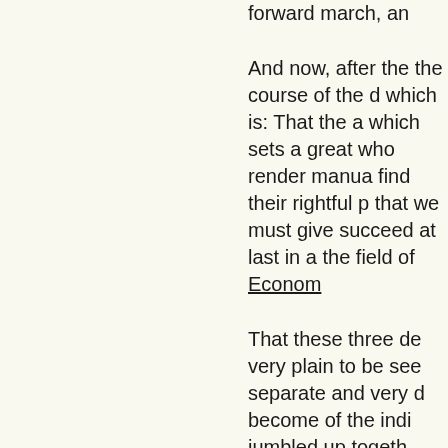forward march, an...
And now, after the the course of the d which is: That the a which sets a great who render manua find their rightful p that we must give succeed at last in a the field of Econom
That these three de very plain to be see separate and very d become of the indi jumbled up togeth time, is that we sho matter of course in